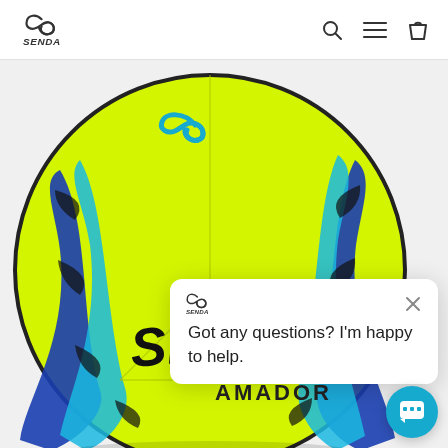Senda — navigation header with logo, search, menu, and cart icons
[Figure (photo): Senda Amador soccer ball — neon yellow/green with blue and black brushstroke graphic design and Senda Amador branding text on the ball]
Got any questions? I'm happy to help.